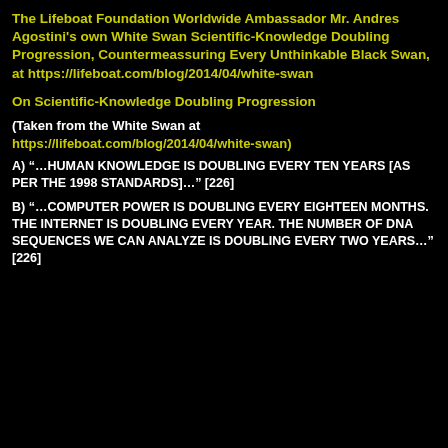The Lifeboat Foundation Worldwide Ambassador Mr. Andres Agostini's own White Swan Scientific-Knowledge Doubling Progression, Countermeassuring Every Unthinkable Black Swan, at https://lifeboat.com/blog/2014/04/white-swan
On Scientific-Knowledge Doubling Progression
(Taken from the White Swan at https://lifeboat.com/blog/2014/04/white-swan)
A) “…HUMAN KNOWLEDGE IS DOUBLING EVERY TEN YEARS [AS PER THE 1998 STANDARDS]…” [226]
B) “…COMPUTER POWER IS DOUBLING EVERY EIGHTEEN MONTHS. THE INTERNET IS DOUBLING EVERY YEAR. THE NUMBER OF DNA SEQUENCES WE CAN ANALYZE IS DOUBLING EVERY TWO YEARS…” [226]